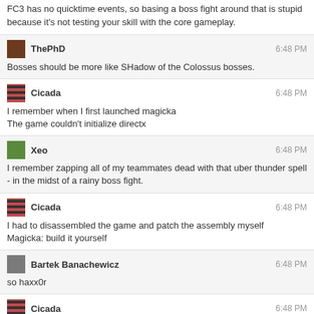FC3 has no quicktime events, so basing a boss fight around that is stupid because it's not testing your skill with the core gameplay.
ThePhD 6:48 PM
Bosses should be more like SHadow of the Colossus bosses.
Cicada 6:48 PM
I remember when I first launched magicka
The game couldn't initialize directx
Xeo 6:48 PM
I remember zapping all of my teammates dead with that uber thunder spell - in the midst of a rainy boss fight.
Cicada 6:48 PM
I had to disassembled the game and patch the assembly myself
Magicka: build it yourself
Bartek Banachewicz 6:48 PM
so haxx0r
Cicada 6:48 PM
Also, couldn't finish the first chapter because the boss would bug
Cat Plus Plus 6:48 PM
Paradox game
Etienne de Martel 6:49 PM